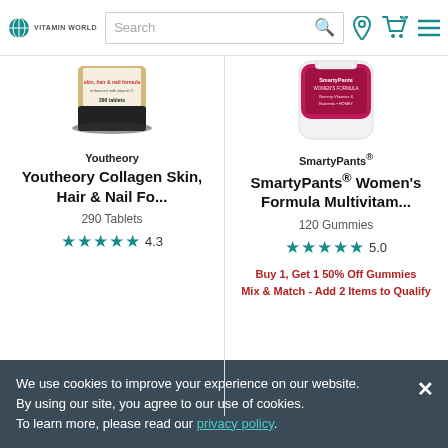Vitamin World — Search bar, location, cart, menu
[Figure (photo): Youtheory Collagen Skin, Hair & Nail product bottle with dark tray packaging, 290 tablets]
Youtheory
Youtheory Collagen Skin, Hair & Nail Fo...
290 Tablets
★★★★★ 4.3
$19.99
[Figure (photo): SmartyPants Women's Formula Multivitamin gummies pink bottle, 120 gummies]
SmartyPants®
SmartyPants® Women's Formula Multivitam...
120 Gummies
★★★★★ 5.0
Buy 1, Get 1 50% Off Gummies
Mix & Match - Add 2 Items to Qualify
$24.99
We use cookies to improve your experience on our website.
By using our site, you agree to our use of cookies.
To learn more, please read our privacy policy.